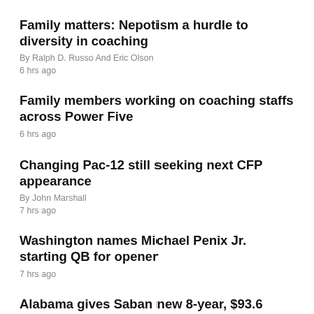Family matters: Nepotism a hurdle to diversity in coaching
By Ralph D. Russo And Eric Olson
6 hrs ago
Family members working on coaching staffs across Power Five
6 hrs ago
Changing Pac-12 still seeking next CFP appearance
By John Marshall
7 hrs ago
Washington names Michael Penix Jr. starting QB for opener
7 hrs ago
Alabama gives Saban new 8-year, $93.6 million deal
8 hrs ago